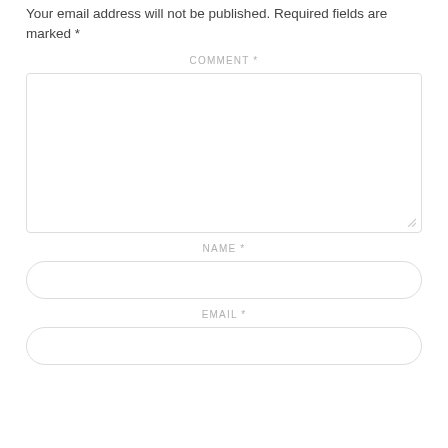Your email address will not be published. Required fields are marked *
COMMENT *
[Figure (other): Large empty comment textarea input box with resize handle]
NAME *
[Figure (other): Rounded name input field]
EMAIL *
[Figure (other): Rounded email input field (partially visible)]